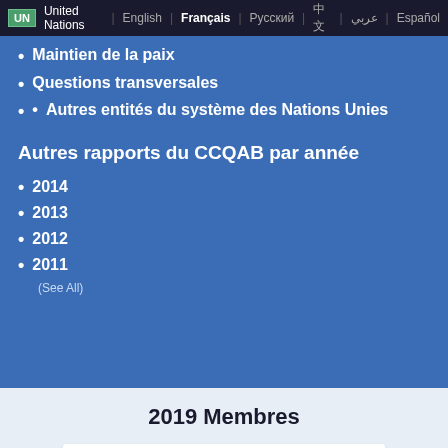UN United Nations | English | Français | Русский | 中文 | عربي | Español
Maintien de la paix
Questions transversales
Autres entités du système des Nations Unies
Autres rapports du CCQAB par année
2014
2013
2012
2011
(See All)
2019 Membres
Mr. Cihan TERZI ( Turkey ) (Président)
Ms. Julia MACIEL ( Paraguay ) (Vice-